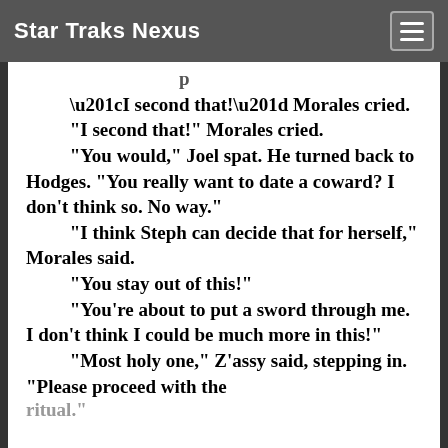Star Traks Nexus
“I second that!” Morales cried.
“You would,” Joel spat. He turned back to Hodges. “You really want to date a coward? I don’t think so. No way.”
“I think Steph can decide that for herself,” Morales said.
“You stay out of this!”
“You’re about to put a sword through me. I don’t think I could be much more in this!”
“Most holy one,” Z’assy said, stepping in. “Please proceed with the ritual.”